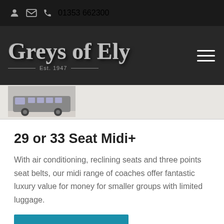01353 662300
[Figure (logo): Greys of Ely logo with ornate serif font and 'Est. 1947' tagline on dark background]
[Figure (photo): Partial thumbnail image of a coach vehicle]
29 or 33 Seat Midi+
With air conditioning, reclining seats and three points seat belts, our midi range of coaches offer fantastic luxury value for money for smaller groups with limited luggage.
MORE INFORMATION